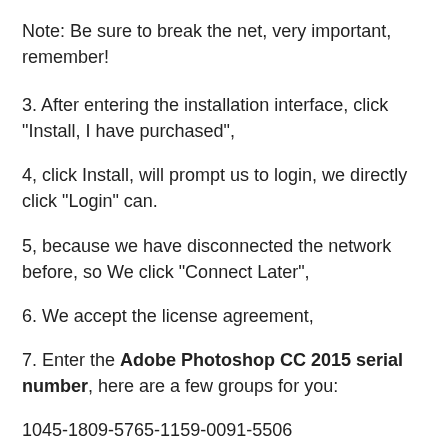Note: Be sure to break the net, very important, remember!
3. After entering the installation interface, click "Install, I have purchased",
4, click Install, will prompt us to login, we directly click "Login" can.
5, because we have disconnected the network before, so We click "Connect Later",
6. We accept the license agreement,
7. Enter the Adobe Photoshop CC 2015 serial number, here are a few groups for you:
1045-1809-5765-1159-0091-5506